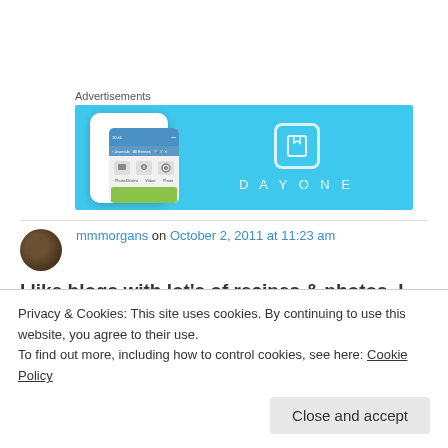Advertisements
[Figure (photo): DayOne app advertisement banner with blue background showing a smartphone with the app interface and DayOne logo with bookmark icon]
mmmorgans on October 2, 2011 at 11:23 am
I like blogs with lot's of recipes & photos. I enjoy
Privacy & Cookies: This site uses cookies. By continuing to use this website, you agree to their use.
To find out more, including how to control cookies, see here: Cookie Policy